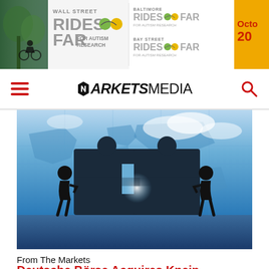[Figure (illustration): Banner advertisement for Wall Street Rides FAR For Autism Research, Baltimore Rides FAR, Bay Street Rides FAR, with date partially visible showing October 20...]
MARKETS MEDIA
[Figure (photo): Two silhouetted figures pushing large puzzle pieces together against a blue world map background, symbolizing a business merger or acquisition.]
From The Markets
Deutsche Börse Acquires Kneip